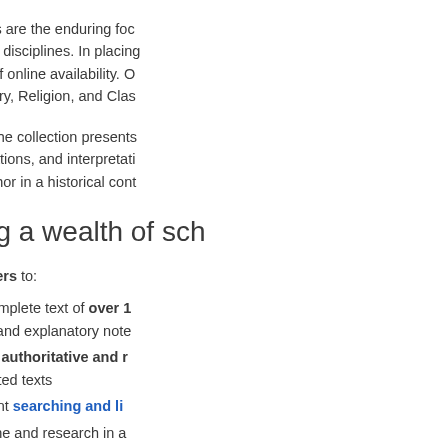Scholarly editions are the enduring focus of key core texts of their disciplines. In placing the advantages of online availability. O Philosophy, History, Religion, and Clas
Each title within the collection presents of important variations, and interpretati work and the author in a historical cont
Unlocking a wealth of sch
OSEO allows users to:
Search the complete text of over 1 interpretative and explanatory note
Be assured of authoritative and r accurately edited texts
Utilise excellent searching and li
Invest their time and research in a works from all periods up to the 20
Access the editions anywhere, an everyone is using the same, truste
All with the hallmark of ou